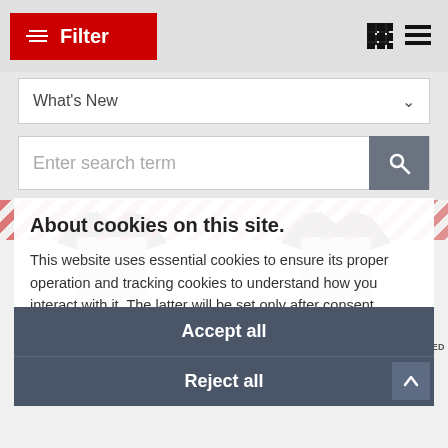[Figure (screenshot): Filter button (red background) with filter icon and text 'Filter', plus grid and list view icons on the right]
What's New
Enter search term
[Figure (photo): Two t-shirts: KTM Square Red Bull Tee on the left, Ducati Scrambler Mojave Short Sleeved Polo on the right]
About cookies on this site.
This website uses essential cookies to ensure its proper operation and tracking cookies to understand how you interact with it. The latter will be set only after consent.
Let me choose
Accept all
Reject all
KTM SQUARE RED BULL TEE
From £20.00
WAS £31.60
DUCATI SCRAMBLER MOJAVE SHORT SLEEVED POLO SI
From £28.99
WAS £45.00